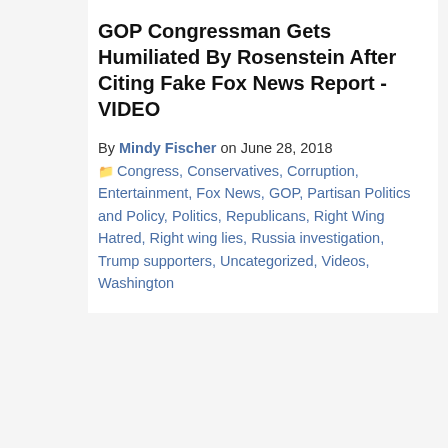GOP Congressman Gets Humiliated By Rosenstein After Citing Fake Fox News Report - VIDEO
By Mindy Fischer on June 28, 2018
Congress, Conservatives, Corruption, Entertainment, Fox News, GOP, Partisan Politics and Policy, Politics, Republicans, Right Wing Hatred, Right wing lies, Russia investigation, Trump supporters, Uncategorized, Videos, Washington